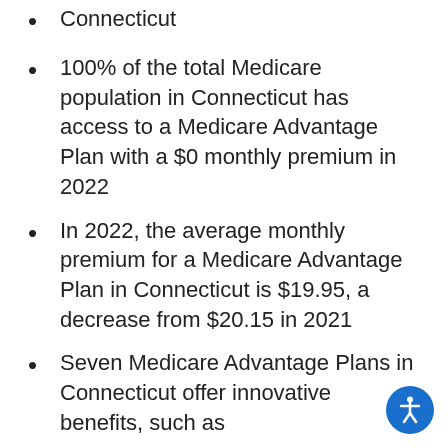Connecticut
100% of the total Medicare population in Connecticut has access to a Medicare Advantage Plan with a $0 monthly premium in 2022
In 2022, the average monthly premium for a Medicare Advantage Plan in Connecticut is $19.95, a decrease from $20.15 in 2021
Seven Medicare Advantage Plans in Connecticut offer innovative benefits, such as